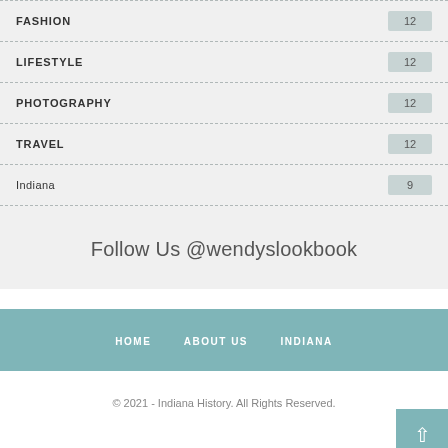FASHION 12
LIFESTYLE 12
PHOTOGRAPHY 12
TRAVEL 12
Indiana 9
Follow Us @wendyslookbook
HOME   ABOUT US   INDIANA
© 2021 - Indiana History. All Rights Reserved.